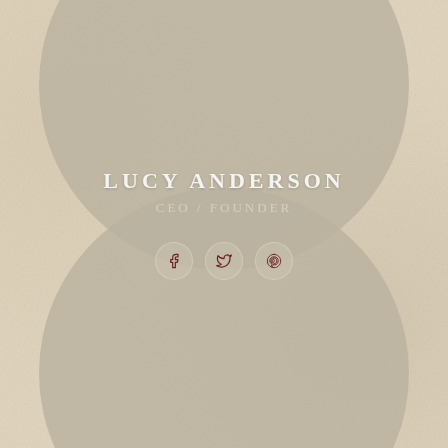[Figure (illustration): Decorative profile card with two large overlapping gray circles on a beige textured paper background. The top circle occupies the upper half and the bottom circle peeks from below. In the center between the circles, the name LUCY ANDERSON and title CEO / FOUNDER are displayed along with three social media icon circles (Facebook, Twitter, Pinterest).]
LUCY ANDERSON
CEO / FOUNDER